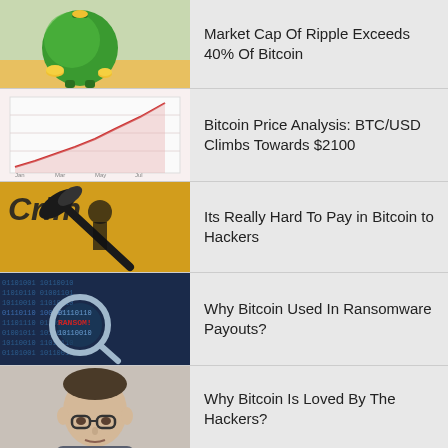[Figure (illustration): Green globe piggy bank with coins illustration]
Market Cap Of Ripple Exceeds 40% Of Bitcoin
[Figure (illustration): Stock chart with upward trend lines on white/pink background]
Bitcoin Price Analysis: BTC/USD Climbs Towards $2100
[Figure (photo): Crime scene image with pickaxe on yellow background with word Crime]
Its Really Hard To Pay in Bitcoin to Hackers
[Figure (photo): Binary code on blue background with magnifying glass showing red text]
Why Bitcoin Used In Ransomware Payouts?
[Figure (photo): Photo of a man with glasses]
Why Bitcoin Is Loved By The Hackers?